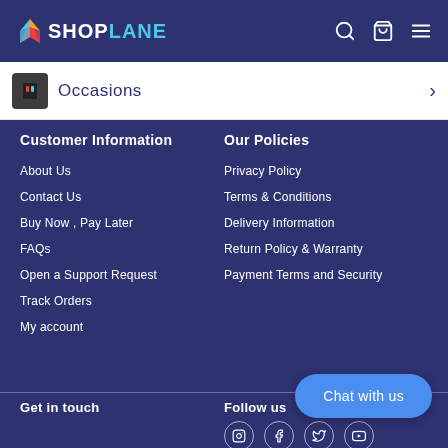SHOPLANE
[Figure (screenshot): Navigation bar showing Occasions category with printer ink thumbnail]
Customer Information
Our Policies
About Us
Privacy Policy
Contact Us
Terms & Conditions
Buy Now , Pay Later
Delivery Information
FAQs
Return Policy & Warranty
Open a Support Request
Payment Terms and Security
Track Orders
My account
Get in touch
Follow us